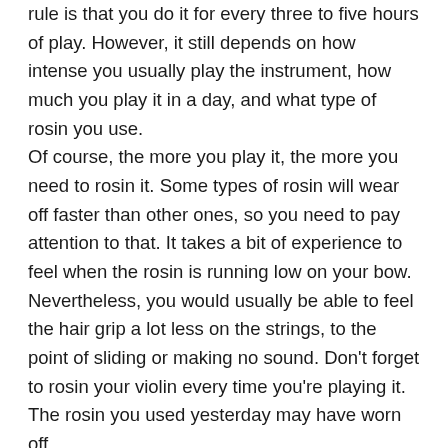rule is that you do it for every three to five hours of play. However, it still depends on how intense you usually play the instrument, how much you play it in a day, and what type of rosin you use. Of course, the more you play it, the more you need to rosin it. Some types of rosin will wear off faster than other ones, so you need to pay attention to that. It takes a bit of experience to feel when the rosin is running low on your bow. Nevertheless, you would usually be able to feel the hair grip a lot less on the strings, to the point of sliding or making no sound. Don't forget to rosin your violin every time you're playing it. The rosin you used yesterday may have worn off.